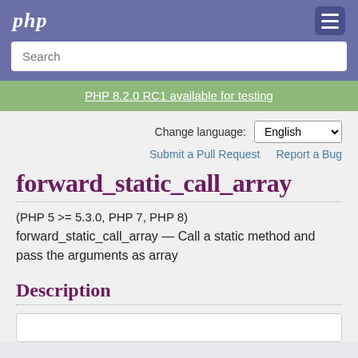php
Search
PHP 8.2.0 RC1 available for testing
Change language: English
Submit a Pull Request   Report a Bug
forward_static_call_array
(PHP 5 >= 5.3.0, PHP 7, PHP 8)
forward_static_call_array — Call a static method and pass the arguments as array
Description